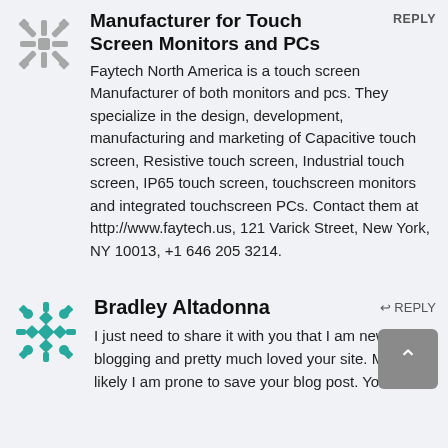[Figure (logo): Faytech North America logo - grey snowflake/compass rose pattern]
Manufacturer for Touch Screen Monitors and PCs
REPLY
Faytech North America is a touch screen Manufacturer of both monitors and pcs. They specialize in the design, development, manufacturing and marketing of Capacitive touch screen, Resistive touch screen, Industrial touch screen, IP65 touch screen, touchscreen monitors and integrated touchscreen PCs. Contact them at http://www.faytech.us, 121 Varick Street, New York, NY 10013, +1 646 205 3214.
[Figure (logo): Bradley Altadonna avatar - teal geometric snowflake/diamond pattern]
Bradley Altadonna
↩ REPLY
I just need to share it with you that I am new to blogging and pretty much loved your site. Most likely I am prone to save your blog post. You